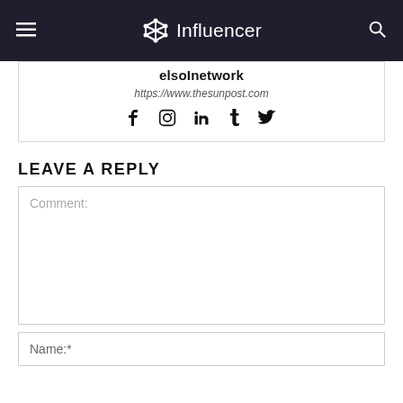Influencer
elsoInetwork
https://www.thesunpost.com
[Figure (other): Social media icons: Facebook, Instagram, LinkedIn, Tumblr, Twitter]
LEAVE A REPLY
Comment:
Name:*